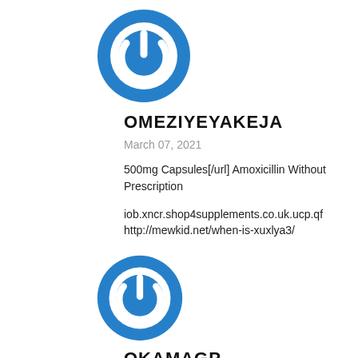[Figure (logo): Blue circular power button icon logo]
OMEZIYEYAKEJA
March 07, 2021
500mg Capsules[/url] Amoxicillin Without Prescription
iob.xncr.shop4supplements.co.uk.ucp.qf
http://mewkid.net/when-is-xuxlya3/
[Figure (logo): Blue circular power button icon logo]
OKAMAGP